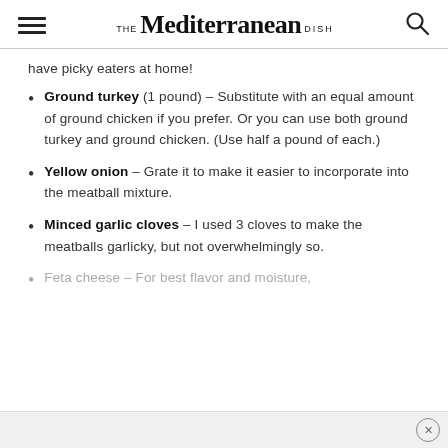THE Mediterranean DISH
have picky eaters at home!
Ground turkey (1 pound) – Substitute with an equal amount of ground chicken if you prefer. Or you can use both ground turkey and ground chicken. (Use half a pound of each.)
Yellow onion – Grate it to make it easier to incorporate into the meatball mixture.
Minced garlic cloves – I used 3 cloves to make the meatballs garlicky, but not overwhelmingly so.
Feta cheese – For best flavor and moisture,